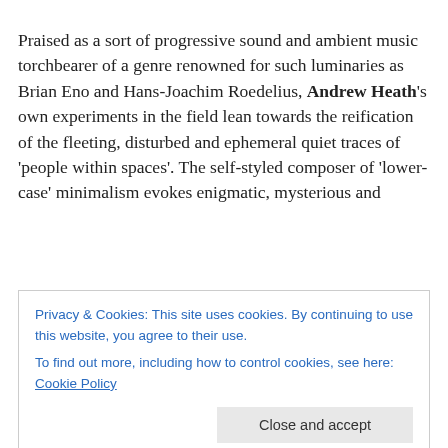Praised as a sort of progressive sound and ambient music torchbearer of a genre renowned for such luminaries as Brian Eno and Hans-Joachim Roedelius, Andrew Heath's own experiments in the field lean towards the reification of the fleeting, disturbed and ephemeral quiet traces of 'people within spaces'. The self-styled composer of 'lower-case' minimalism evokes enigmatic, mysterious and
Privacy & Cookies: This site uses cookies. By continuing to use this website, you agree to their use.
To find out more, including how to control cookies, see here: Cookie Policy
His father had a love for a Dixie Cook, a follower of